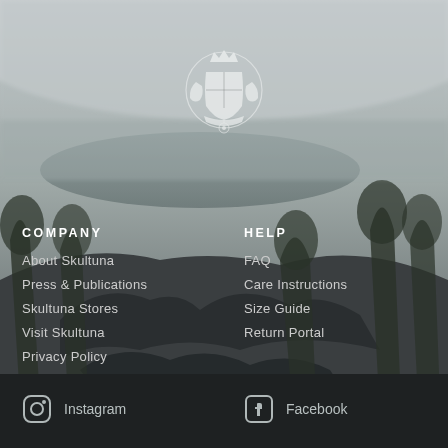[Figure (photo): Aerial misty landscape with rocky terrain, water body, and trees in foggy conditions, with a white heraldic crest/logo centered at top]
COMPANY
About Skultuna
Press & Publications
Skultuna Stores
Visit Skultuna
Privacy Policy
HELP
FAQ
Care Instructions
Size Guide
Return Portal
Instagram
Facebook